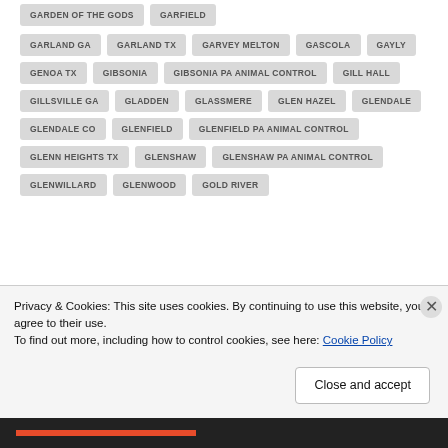GARDEN OF THE GODS, GARFIELD, GARLAND GA, GARLAND TX, GARVEY MELTON, GASCOLA, GAYLY, GENOA TX, GIBSONIA, GIBSONIA PA ANIMAL CONTROL, GILL HALL, GILLSVILLE GA, GLADDEN, GLASSMERE, GLEN HAZEL, GLENDALE, GLENDALE CO, GLENFIELD, GLENFIELD PA ANIMAL CONTROL, GLENN HEIGHTS TX, GLENSHAW, GLENSHAW PA ANIMAL CONTROL, GLENWILLARD, GLENWOOD, GOLD RIVER
Privacy & Cookies: This site uses cookies. By continuing to use this website, you agree to their use.
To find out more, including how to control cookies, see here: Cookie Policy